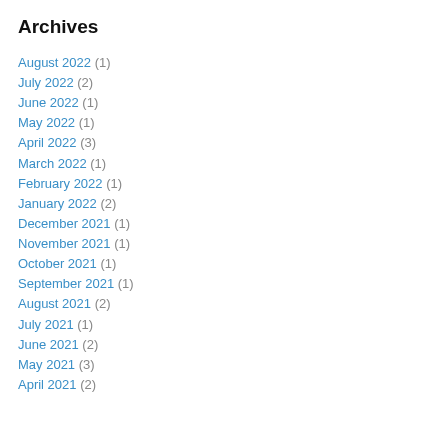Archives
August 2022 (1)
July 2022 (2)
June 2022 (1)
May 2022 (1)
April 2022 (3)
March 2022 (1)
February 2022 (1)
January 2022 (2)
December 2021 (1)
November 2021 (1)
October 2021 (1)
September 2021 (1)
August 2021 (2)
July 2021 (1)
June 2021 (2)
May 2021 (3)
April 2021 (2)